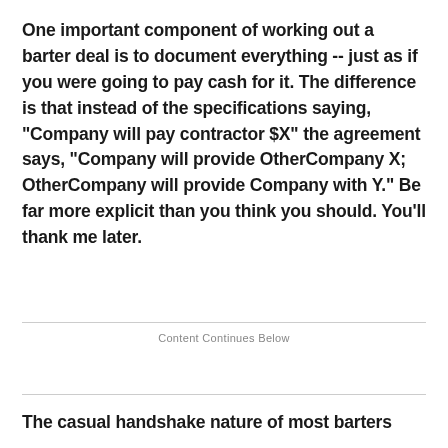One important component of working out a barter deal is to document everything -- just as if you were going to pay cash for it. The difference is that instead of the specifications saying, "Company will pay contractor $X" the agreement says, "Company will provide OtherCompany X; OtherCompany will provide Company with Y." Be far more explicit than you think you should. You'll thank me later.
Content Continues Below
The casual handshake nature of most barters